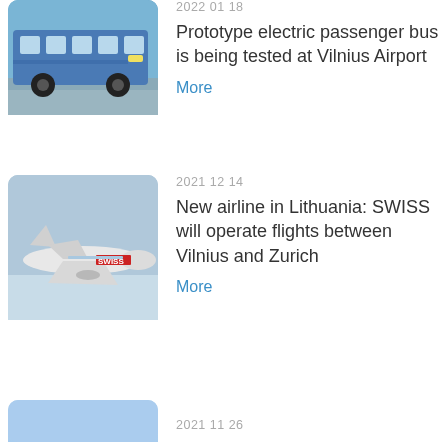[Figure (photo): Blue electric passenger bus photographed outdoors in winter conditions]
2022 01 18
Prototype electric passenger bus is being tested at Vilnius Airport
More
[Figure (photo): SWISS airline aircraft in flight against a gray-blue sky]
2021 12 14
New airline in Lithuania: SWISS will operate flights between Vilnius and Zurich
More
[Figure (photo): Partially visible third news image at bottom of page]
2021 11 26